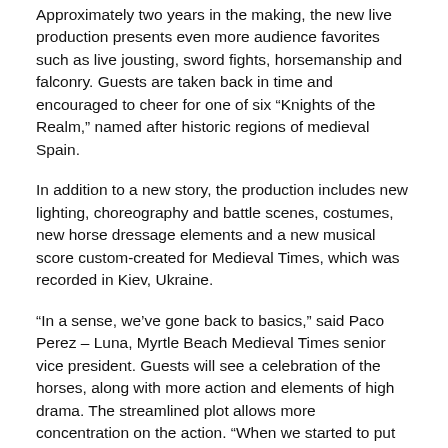Approximately two years in the making, the new live production presents even more audience favorites such as live jousting, sword fights, horsemanship and falconry. Guests are taken back in time and encouraged to cheer for one of six “Knights of the Realm,” named after historic regions of medieval Spain.
In addition to a new story, the production includes new lighting, choreography and battle scenes, costumes, new horse dressage elements and a new musical score custom-created for Medieval Times, which was recorded in Kiev, Ukraine.
“In a sense, we’ve gone back to basics,” said Paco Perez – Luna, Myrtle Beach Medieval Times senior vice president. Guests will see a celebration of the horses, along with more action and elements of high drama. The streamlined plot allows more concentration on the action. “When we started to put pen to paper, we knew from the start we wanted to grab guests’ attention from the moment they take their seats. This led us to the creation of the opening moment, when Liberty Horse enters the arena.”